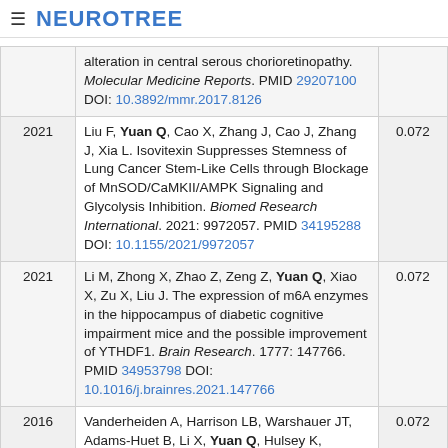≡ NEUROTREE
| Year | Reference | Score |
| --- | --- | --- |
|  | alteration in central serous chorioretinopathy. Molecular Medicine Reports. PMID 29207100 DOI: 10.3892/mmr.2017.8126 |  |
| 2021 | Liu F, Yuan Q, Cao X, Zhang J, Cao J, Zhang J, Xia L. Isovitexin Suppresses Stemness of Lung Cancer Stem-Like Cells through Blockage of MnSOD/CaMKII/AMPK Signaling and Glycolysis Inhibition. Biomed Research International. 2021: 9972057. PMID 34195288 DOI: 10.1155/2021/9972057 | 0.072 |
| 2021 | Li M, Zhong X, Zhao Z, Zeng Z, Yuan Q, Xiao X, Zu X, Liu J. The expression of m6A enzymes in the hippocampus of diabetic cognitive impairment mice and the possible improvement of YTHDF1. Brain Research. 1777: 147766. PMID 34953798 DOI: 10.1016/j.brainres.2021.147766 | 0.072 |
| 2016 | Vanderheiden A, Harrison LB, Warshauer JT, Adams-Huet B, Li X, Yuan Q, Hulsey K, Dimitrov | 0.072 |